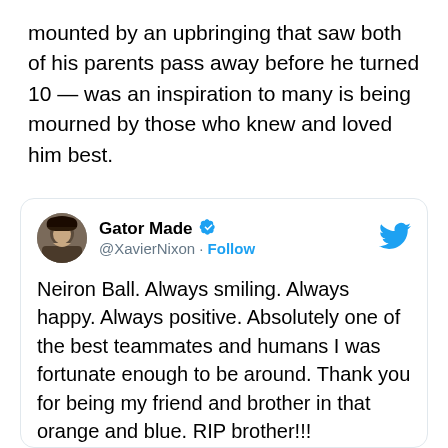mounted by an upbringing that saw both of his parents pass away before he turned 10 — was an inspiration to many is being mourned by those who knew and loved him best.
[Figure (screenshot): Embedded tweet from @XavierNixon (Gator Made) with verified badge. Tweet text: 'Neiron Ball. Always smiling. Always happy. Always positive. Absolutely one of the best teammates and humans I was fortunate enough to be around. Thank you for being my friend and brother in that orange and blue. RIP brother!!!' with a photo of a football player in Florida Gators helmet.]